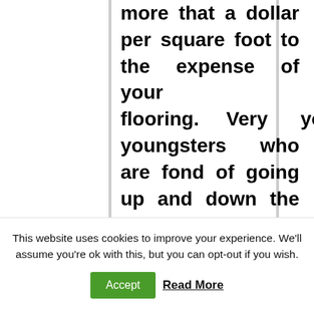more that a dollar per square foot to the expense of your flooring. Very young youngsters who are fond of going up and down the stairs continuously are a element to think about.

Hand Scraped: Hand-scraped Laminate Flooring is made with a texture that resembles
This website uses cookies to improve your experience. We'll assume you're ok with this, but you can opt-out if you wish.